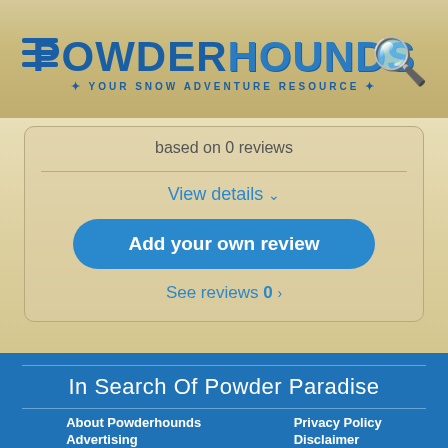POWDERHOUNDS — YOUR SNOW ADVENTURE RESOURCE
based on 0 reviews
View details ∨
Add your own review
See reviews 0 >
In Search Of Powder Paradise
About Powderhounds
Advertising
Privacy Policy
Disclaimer